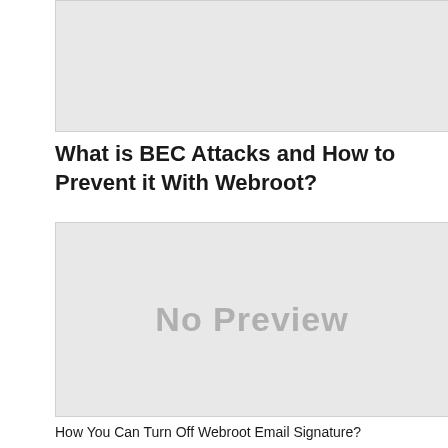[Figure (other): Grey placeholder image block at top of page]
What is BEC Attacks and How to Prevent it With Webroot?
[Figure (other): Grey placeholder image with 'No Preview' text]
How You Can Turn Off Webroot Email Signature?